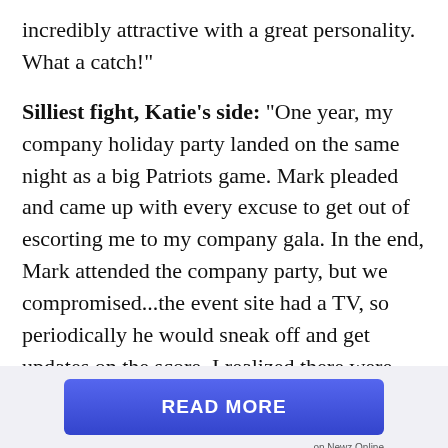incredibly attractive with a great personality. What a catch!
Silliest fight, Katie's side: "One year, my company holiday party landed on the same night as a big Patriots game. Mark pleaded and came up with every excuse to get out of escorting me to my company gala. In the end, Mark attended the company party, but we compromised...the event site had a TV, so periodically he would sneak off and get updates on the score. I realized there were plenty of other male attendees doing the same thing."
[Figure (other): Blue 'READ MORE' button advertisement banner with 'on Newz Online' label]